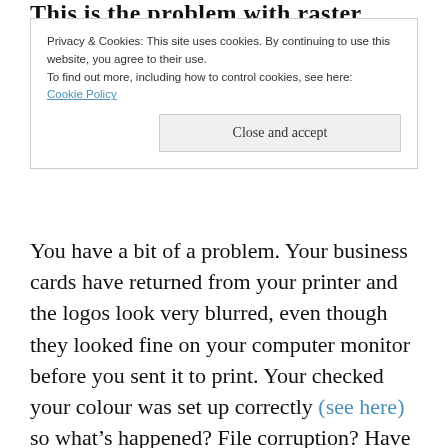This is the...
Privacy & Cookies: This site uses cookies. By continuing to use this website, you agree to their use.
To find out more, including how to control cookies, see here:
Cookie Policy
Close and accept
You have a bit of a problem. Your business cards have returned from your printer and the logos look very blurred, even though they looked fine on your computer monitor before you sent it to print. Your checked your colour was set up correctly (see here) so what’s happened? File corruption? Have your printers messed up somehow?
The chances are that you – or your designer –